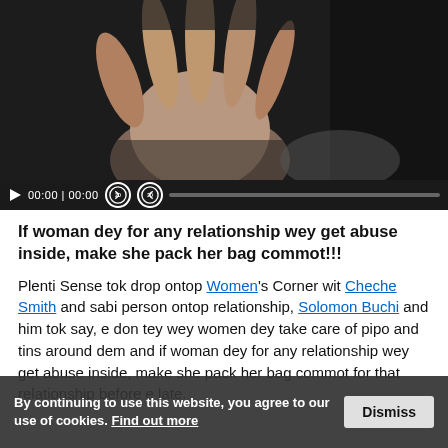[Figure (screenshot): Video player showing a hand raised against a dark background. Controls show 00:00 | 00:00, two skip buttons labeled '2D', and a progress bar.]
If woman dey for any relationship wey get abuse inside, make she pack her bag commot!!!
Plenti Sense tok drop ontop Women's Corner wit Cheche Smith and sabi person ontop relationship, Solomon Buchi and him tok say, e don tey wey women dey take care of pipo and tins around dem and if woman dey for any relationship wey get abuse inside, make she pack her bag commot for that relationship before e late.
By continuing to use this website, you agree to our use of cookies. Find out more  Dismiss